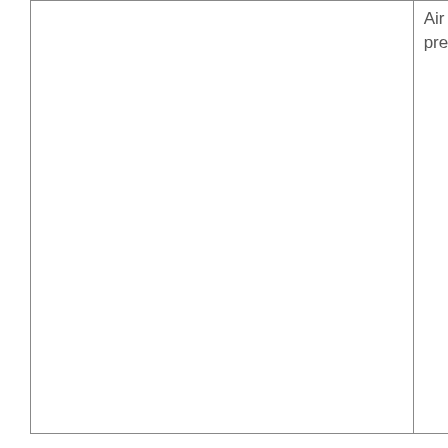|  | Air preparation | handling chemical...

Protects environ – Ozone reduces waste w pollutan |
[Figure (photo): A handheld ozone device (CleanWater brand, model CT-2000) with a gray rectangular body, a small label/logo panel in the middle, and a blue cable/tube extending from the bottom connected to a small component being held in a hand.]